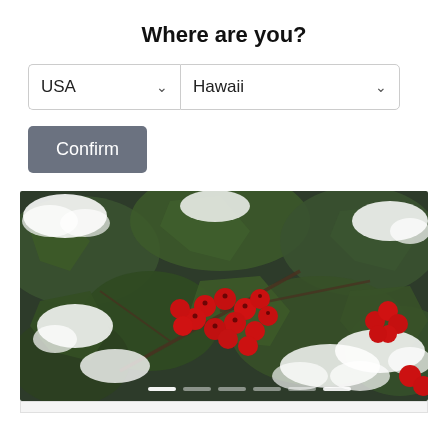Where are you?
USA (dropdown), Hawaii (dropdown)
Confirm (button)
[Figure (photo): Close-up photograph of holly berries (red) with snow on dark green spiky holly leaves. Slide carousel with dot indicators at the bottom.]